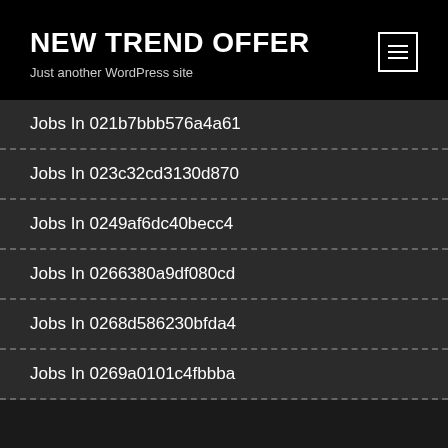NEW TREND OFFER
Just another WordPress site
Jobs In 021b7bbb576a4a61
Jobs In 023c32cd3130d870
Jobs In 0249af6dc40becc4
Jobs In 0266380a9df080cd
Jobs In 0268d586230bfda4
Jobs In 0269a0101c4fbbba